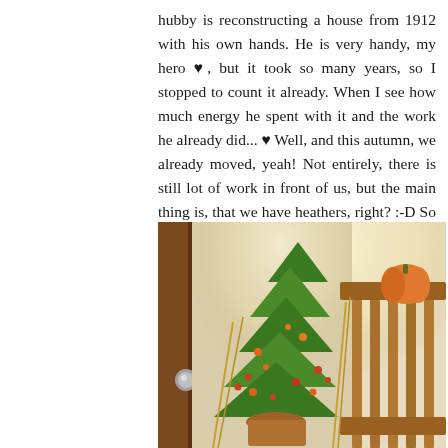hubby is reconstructing a house from 1912 with his own hands. He is very handy, my hero ♥, but it took so many years, so I stopped to count it already. When I see how much energy he spent with it and the work he already did... ♥ Well, and this autumn, we already moved, yeah! Not entirely, there is still lot of work in front of us, but the main thing is, that we have heathers, right? :-D So my very first front door decoration :-) I know, I have to work on it, hang the wreath etc., but I am very happy already :-)
[Figure (photo): Autumn front door decoration with green conifer plant, orange and red berries, and a small pumpkin visible on a wooden shelf. A wooden door frame is visible on the left with a door knob, and wooden railing slats on the right.]